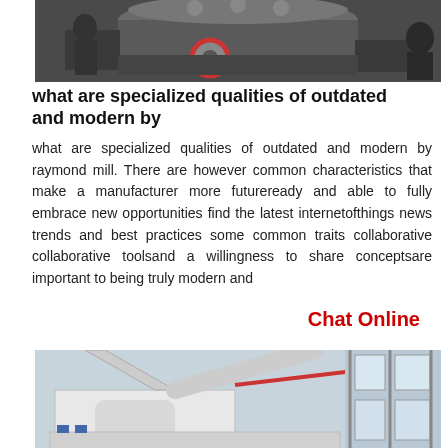[Figure (photo): Industrial machinery, appears to be a raymond mill or similar heavy equipment, with workers nearby. Dark metallic machine with a red wheel visible.]
what are specialized qualities of outdated and modern by
what are specialized qualities of outdated and modern by raymond mill. There are however common characteristics that make a manufacturer more futureready and able to fully embrace new opportunities find the latest internetofthings news trends and best practices some common traits collaborative collaborative toolsand a willingness to share conceptsare important to being truly modern and
Chat Online
[Figure (photo): Industrial facility interior showing large white industrial grinding or milling equipment with pipes and ducts, scaffolding visible in background with windows.]